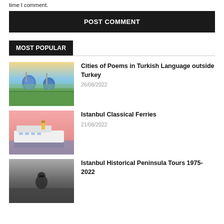time I comment.
POST COMMENT
MOST POPULAR
[Figure (photo): Aerial view of a Central Asian city with domed mosques and green trees]
Cities of Poems in Turkish Language outside Turkey
26/08/2022
[Figure (photo): A classical ferry boat on water with pink/salmon toned background]
Istanbul Classical Ferries
21/08/2022
[Figure (photo): Black and white historical photo of a person near waterfront]
Istanbul Historical Peninsula Tours 1975-2022